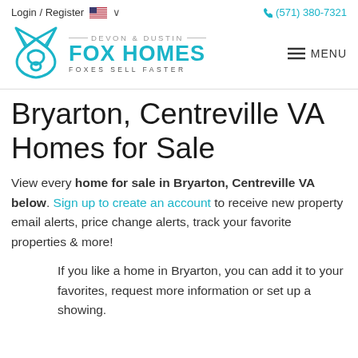Login / Register  🇺🇸 ∨  (571) 380-7321
[Figure (logo): Fox Homes logo with teal fox icon and text: DEVON & DUSTIN FOX HOMES FOXES SELL FASTER, plus hamburger MENU button]
Bryarton, Centreville VA Homes for Sale
View every home for sale in Bryarton, Centreville VA below. Sign up to create an account to receive new property email alerts, price change alerts, track your favorite properties & more!
If you like a home in Bryarton, you can add it to your favorites, request more information or set up a showing.